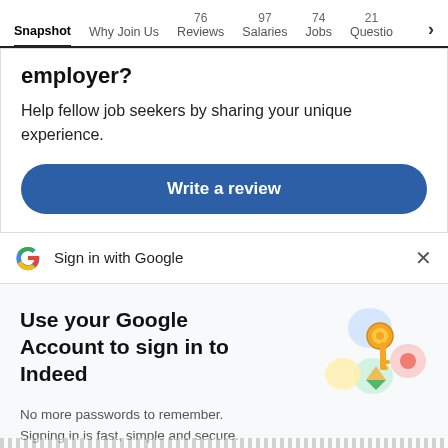Snapshot | Why Join Us | 76 Reviews | 97 Salaries | 74 Jobs | 21 Questions
employer?
Help fellow job seekers by sharing your unique experience.
[Figure (other): Write a review button (blue rounded rectangle)]
[Figure (other): Sign in with Google bar with Google G logo and X close button]
Use your Google Account to sign in to Indeed
No more passwords to remember. Signing in is fast, simple and secure.
[Figure (illustration): Google sign-in illustration with a key and colorful circles]
[Figure (other): Continue button (blue rectangle)]